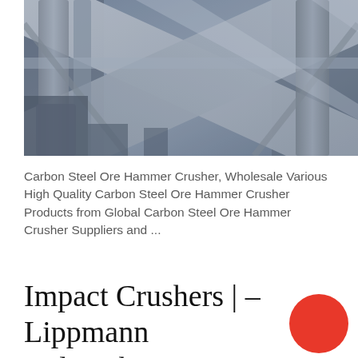[Figure (photo): Industrial photograph of steel crusher equipment — large metal beams, pipes, and mechanical components in a grayish-blue toned industrial setting.]
Carbon Steel Ore Hammer Crusher, Wholesale Various High Quality Carbon Steel Ore Hammer Crusher Products from Global Carbon Steel Ore Hammer Crusher Suppliers and ...
Impact Crushers | – Lippmann Milwaukee, Inc.